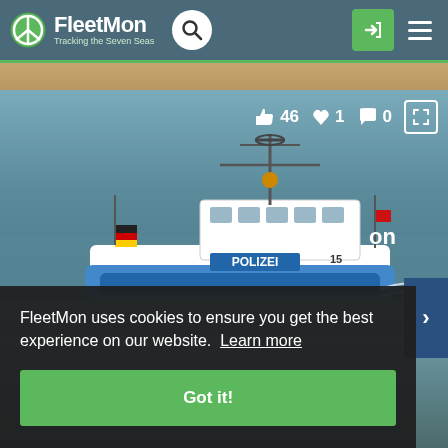[Figure (screenshot): FleetMon website screenshot showing navigation bar with logo, search button, login and menu buttons, a photo of a police boat (POLIZEI) on water with beach in background, showing social stats (46 likes, 1 heart, 0 comments), and a cookie consent banner overlaying the bottom portion.]
FleetMon uses cookies to ensure you get the best experience on our website. Learn more
Got it!